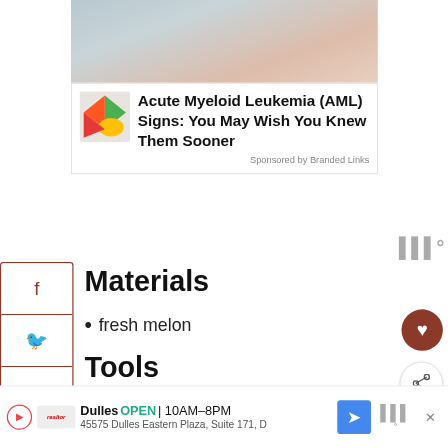[Figure (photo): Partial photo of a person's neck/shoulder area, cropped]
[Figure (infographic): Advertisement: Acute Myeloid Leukemia (AML) Signs: You May Wish You Knew Them Sooner. Sponsored by Branded Links. Colorful icon with green/red/yellow shapes.]
Materials
fresh melon
Tools
Cutting board
Kitchen knife
[Figure (photo): Partial bottom image showing people outdoors with mountains, cropped]
[Figure (infographic): Bottom advertisement banner: Dulles OPEN 10AM-8PM, 45575 Dulles Eastern Plaza, Suite 171, D. Navigation/map icon shown.]